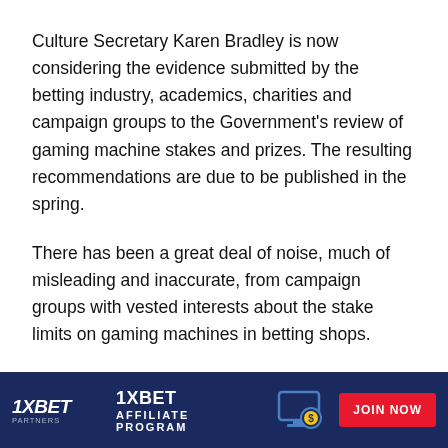Culture Secretary Karen Bradley is now considering the evidence submitted by the betting industry, academics, charities and campaign groups to the Government's review of gaming machine stakes and prizes. The resulting recommendations are due to be published in the spring.
There has been a great deal of noise, much of misleading and inaccurate, from campaign groups with vested interests about the stake limits on gaming machines in betting shops.
Some has come from those who just don't like gambling. But, more disappointingly, some of the criticism has come from sections of the gambling industry that believe attacking betting shops will somehow further their own efforts to increase stakes and prices on other machines or introduce new methods of
[Figure (other): 1XBET Partners affiliate program advertisement banner with dark blue background, 1XBET logo on left, '1XBET AFFILIATE PROGRAM' text with monitor/coin icon in center, and red 'JOIN NOW' button on right.]